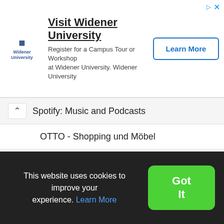[Figure (screenshot): Advertisement banner for Widener University with logo, headline, body text, and Learn More button]
Spotify: Music and Podcasts
OTTO - Shopping und Möbel
bunq - bank of The Free
Lexulous Word Game
Mi Picks
WhatsApp Messenger
This website uses cookies to improve your experience. Learn More  Got It